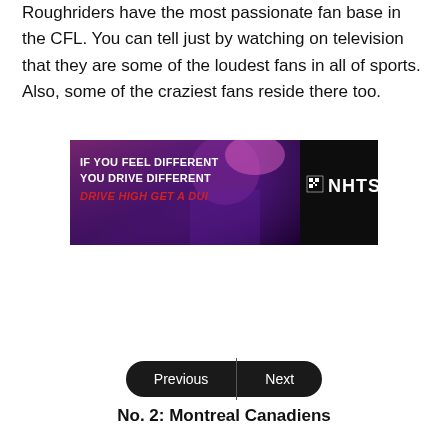Roughriders have the most passionate fan base in the CFL. You can tell just by watching on television that they are some of the loudest fans in all of sports. Also, some of the craziest fans reside there too.
[Figure (other): NHTSA advertisement banner: 'IF YOU FEEL DIFFERENT YOU DRIVE DIFFERENT DRIVE HIGH GET A DUI' with a person under purple/pink lighting and NHTSA logo on dark background.]
Previous | Next
No. 2: Montreal Canadiens